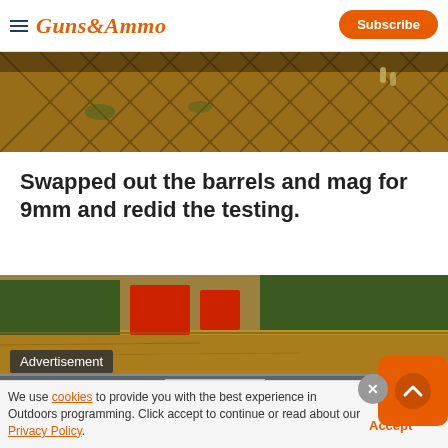GUNS&AMMO | Subscribe
[Figure (photo): Close-up photo of metallic diamond-pattern mesh/grate with ammunition or seeds visible through the openings, warm brown/gold tones]
Swapped out the barrels and mag for 9mm and redid the testing.
[Figure (photo): Outdoor shooting range photo with brown ground, red targets in background, green foliage, daytime scene]
[Figure (other): Advertisement banner: VERSATILE NEW GUN VISE IS A MUST FOR EVERY - READ REVIEW]
We use cookies to provide you with the best experience in Outdoors programming. Click accept to continue or read about our Privacy Policy.